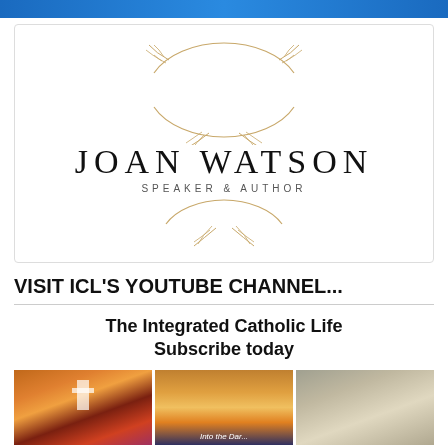[Figure (photo): Top portion of a photo showing a person in a blue shirt, cropped]
[Figure (logo): Joan Watson Speaker & Author logo with decorative botanical wreath line drawing in gold/tan color]
VISIT ICL'S YOUTUBE CHANNEL...
The Integrated Catholic Life Subscribe today
[Figure (photo): Three thumbnail images: a candle with cross light effect, a sunset silhouette scene with text 'Into the Dar...', and an indoor room scene]